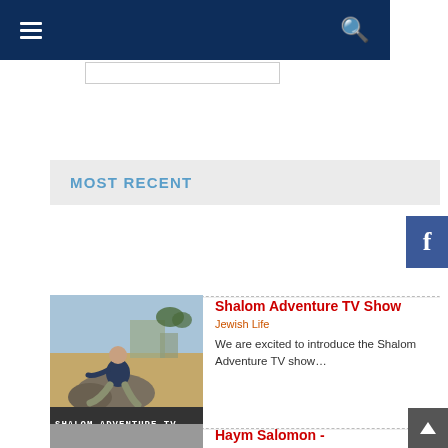Navigation bar with hamburger menu and search icon
MOST RECENT
[Figure (screenshot): Shalom Adventure TV show thumbnail image showing a man sitting on rocks with ancient ruins in the background and text overlay reading 'SHALOM ADVENTURE TV']
Shalom Adventure TV Show
Jewish Life
We are excited to introduce the Shalom Adventure TV show…
Haym Salomon -